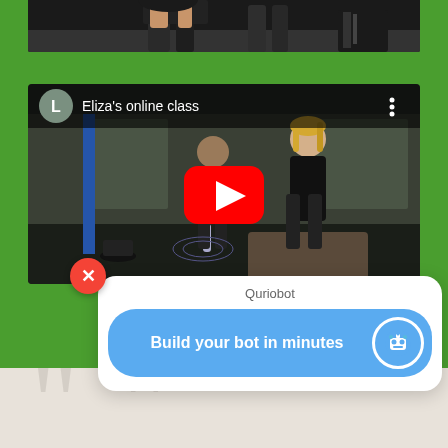[Figure (screenshot): Partial crop of a gym/fitness exercise scene showing legs and gym equipment against dark background]
[Figure (screenshot): YouTube embedded video thumbnail showing 'Eliza's online class' — two women exercising in a gym/studio with dumbbells on floor, YouTube play button overlay, user avatar 'L' and title in header bar]
[Figure (screenshot): Chat popup widget: 'Quriobot' brand label, blue rounded button saying 'Build your bot in minutes' with robot icon, red X close button]
[Figure (screenshot): Bottom decorative area with light beige background and grey chevron/quotation mark shapes]